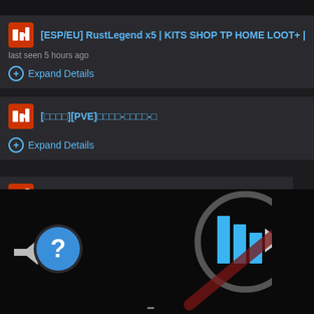[Figure (screenshot): Steam game server browser showing a list of Rust game servers with expand details buttons. A video modal overlay with a close X button and mute icon is visible. A circular help/question mark button appears in the lower-left area.]
[ESP/EU] RustLegend x5 | KITS SHOP TP HOME LOOT+ |
last seen 5 hours ago
Expand Details
[□□□□][PVE]□□□□-□□□□-□
Expand Details
*RU* Потный-Rust
seen 6 hours ago
Expand Details
23.08 - RustPorn SOLO/DUO | TRADE | CLANS | TP last seen 6 hours ago
Expand Details